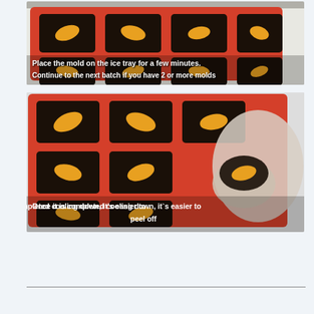[Figure (photo): Red silicone ice cube mold tray filled with shrimp in dark liquid, placed on an ice tray. White text overlay reads: 'Place the mold on the ice tray for a few minutes. Continue to the next batch if you have 2 or more molds']
[Figure (photo): Red silicone mold tray with shrimp pieces in dark liquid; a gloved hand peeling off one frozen piece. White text overlay reads: 'Once it is completed cooling down, it's easier to peel off']